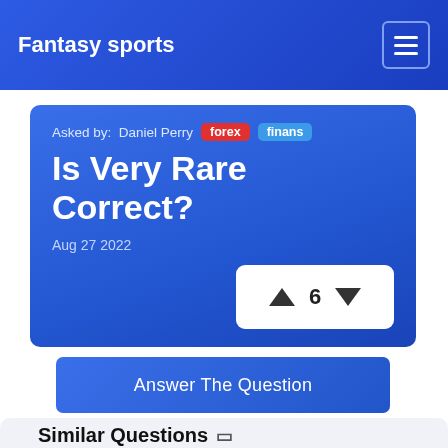Fantasy sports
Asked by: Daniel Perry forex finans
Is Very Rare Correct?
Aug 27 2022
▲ 6 ▼
Answer The Question
Similar Questions
What is the rarest diamon